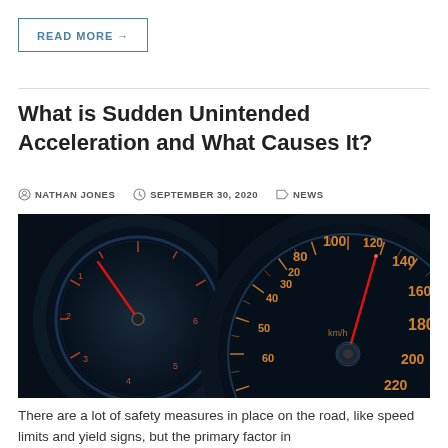READ MORE →
What is Sudden Unintended Acceleration and What Causes It?
NATHAN JONES   SEPTEMBER 30, 2020   NEWS
[Figure (photo): Close-up photograph of car dashboard speedometer gauges with red needle pointing to high speed, dark background with orange/amber illuminated numbers showing 0-220 km/h scale]
There are a lot of safety measures in place on the road, like speed limits and yield signs, but the primary factor in